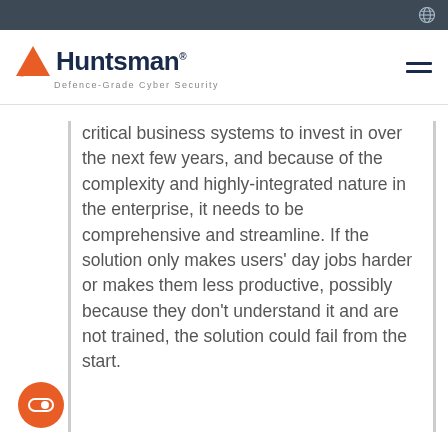Huntsman — Defence-Grade Cyber Security
critical business systems to invest in over the next few years, and because of the complexity and highly-integrated nature in the enterprise, it needs to be comprehensive and streamline. If the solution only makes users' day jobs harder or makes them less productive, possibly because they don't understand it and are not trained, the solution could fail from the start.